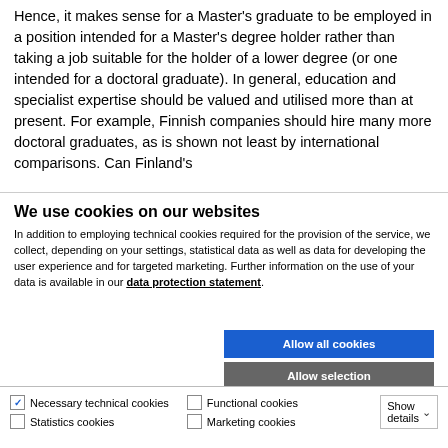Hence, it makes sense for a Master's graduate to be employed in a position intended for a Master's degree holder rather than taking a job suitable for the holder of a lower degree (or one intended for a doctoral graduate). In general, education and specialist expertise should be valued and utilised more than at present. For example, Finnish companies should hire many more doctoral graduates, as is shown not least by international comparisons. Can Finland's
We use cookies on our websites
In addition to employing technical cookies required for the provision of the service, we collect, depending on your settings, statistical data as well as data for developing the user experience and for targeted marketing. Further information on the use of your data is available in our data protection statement.
Allow all cookies
Allow selection
Use necessary cookies only
Necessary technical cookies | Functional cookies | Show details | Statistics cookies | Marketing cookies